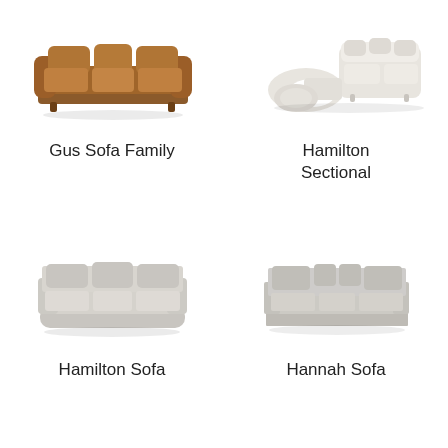[Figure (photo): Gus Sofa Family - a brown leather three-seat sofa with plush cushions and rounded arms]
Gus Sofa Family
[Figure (photo): Hamilton Sectional - a large curved/semi-circular sectional sofa in light beige/off-white fabric]
Hamilton Sectional
[Figure (photo): Hamilton Sofa - a light gray fabric three-seat sofa with boxy modern design and rounded base]
Hamilton Sofa
[Figure (photo): Hannah Sofa - a light gray fabric sofa with clean lines, low profile, and scattered back cushions]
Hannah Sofa